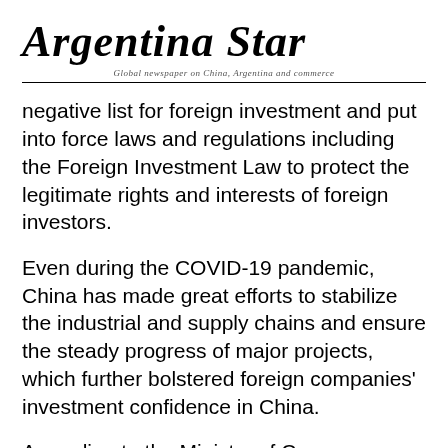Argentina Star
negative list for foreign investment and put into force laws and regulations including the Foreign Investment Law to protect the legitimate rights and interests of foreign investors.
Even during the COVID-19 pandemic, China has made great efforts to stabilize the industrial and supply chains and ensure the steady progress of major projects, which further bolstered foreign companies' investment confidence in China.
According to the Ministry of Commerce (MOC), foreign direct investment (FDI) into the Chinese mainland, in actual use, expanded 17.3 percent year on year to 564.2 billion yuan in the first five months of the year. In U.S. dollar terms, the inflow went up 22.6 percent year on year to 87.77 billion U.S.